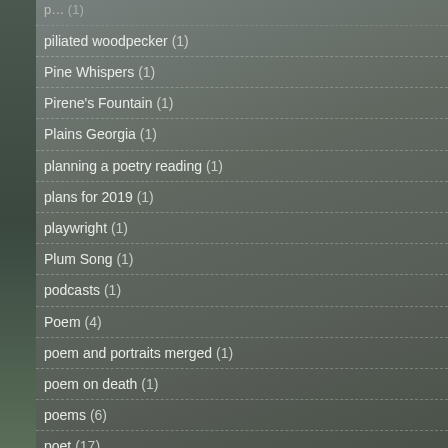piliated woodpecker (1)
Pine Whispers (1)
Pirene's Fountain (1)
Plains Georgia (1)
planning a poetry reading (1)
plans for 2019 (1)
playwright (1)
Plum Song (1)
podcasts (1)
Poem (4)
poem and portraits merged (1)
poem on death (1)
poems (6)
poet (17)
poet laureate (3)
poet laureate of NC (4)
Poet's block (1)
Poetic line (1)